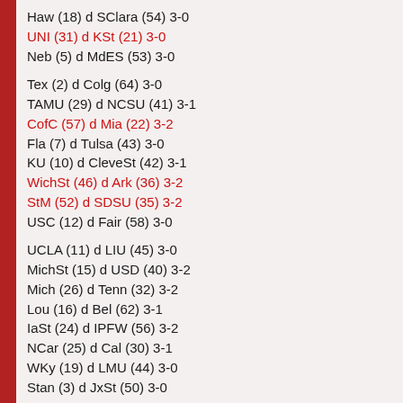Haw (18) d SClara (54) 3-0
UNI (31) d KSt (21) 3-0
Neb (5) d MdES (53) 3-0
Tex (2) d Colg (64) 3-0
TAMU (29) d NCSU (41) 3-1
CofC (57) d Mia (22) 3-2
Fla (7) d Tulsa (43) 3-0
KU (10) d CleveSt (42) 3-1
WichSt (46) d Ark (36) 3-2
StM (52) d SDSU (35) 3-2
USC (12) d Fair (58) 3-0
UCLA (11) d LIU (45) 3-0
MichSt (15) d USD (40) 3-2
Mich (26) d Tenn (32) 3-2
Lou (16) d Bel (62) 3-1
IaSt (24) d IPFW (56) 3-2
NCar (25) d Cal (30) 3-1
WKy (19) d LMU (44) 3-0
Stan (3) d JxSt (50) 3-0
2nd Round (11-5)
PSU (1) d BGSU (51) 3-0